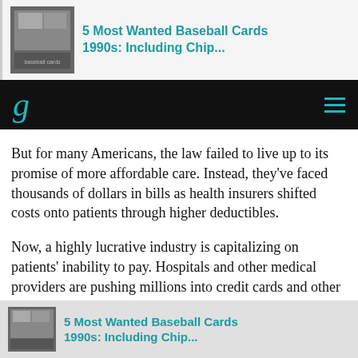[Figure (screenshot): Top banner ad showing a baseball card image thumbnail and link text '5 Most Wanted Baseball Cards 1990s: Including Chip...' in teal color]
g  ≡
But for many Americans, the law failed to live up to its promise of more affordable care. Instead, they've faced thousands of dollars in bills as health insurers shifted costs onto patients through higher deductibles.
Now, a highly lucrative industry is capitalizing on patients' inability to pay. Hospitals and other medical providers are pushing millions into credit cards and other loans. These stick patients with high interest rates while generating profits for the...
[Figure (screenshot): Bottom sticky banner ad showing a baseball card image thumbnail and link text '5 Most Wanted Baseball Cards 1990s: Including Chip...' in teal color]